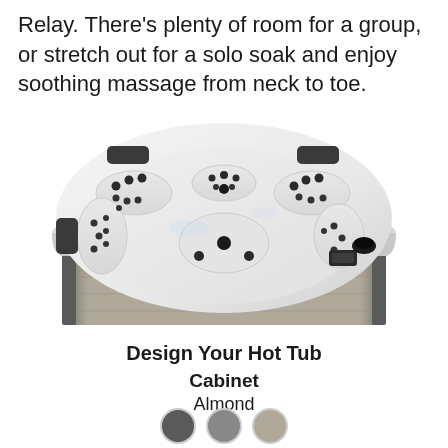Relay. There's plenty of room for a group, or stretch out for a solo soak and enjoy soothing massage from neck to toe.
[Figure (photo): Hot tub / spa with white acrylic interior showing multiple jet seats, dark grey headrests/pillows, and a grey/almond wood-grain cabinet exterior. The tub is viewed from a top-front angle showing the interior seating arrangement.]
Design Your Hot Tub Cabinet
Almond